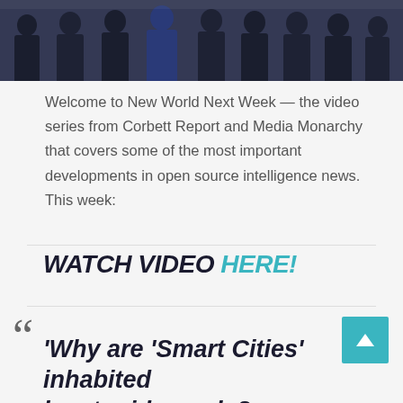[Figure (photo): Group photo of several men in dark suits standing together, one in a blue suit in the center]
Welcome to New World Next Week — the video series from Corbett Report and Media Monarchy that covers some of the most important developments in open source intelligence news. This week:
WATCH VIDEO HERE!
“Why are ‘Smart Cities’ inhabited by stupid people? I can't watch this anymore. We are